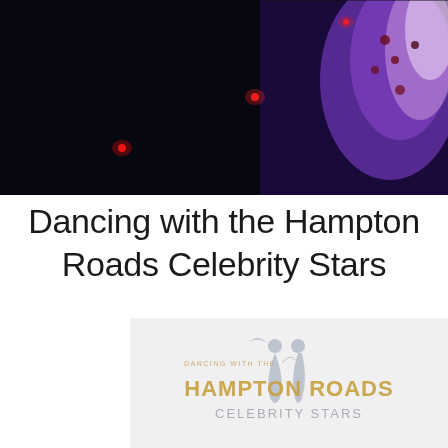[Figure (photo): Dark stage photo with red lights and a performer in a purple/white floral dress on the right side]
Dancing with the Hampton Roads Celebrity Stars
[Figure (logo): Dancing with the Hampton Roads Celebrity Stars logo — silhouette of dancing couple on a light gray background with gold text reading HAMPTON ROADS and CELEBRITY STARS]